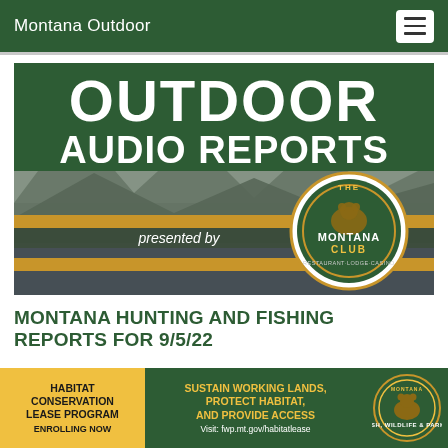Montana Outdoor
[Figure (illustration): Outdoor Audio Reports banner image presented by The Montana Club restaurant-lounge-casino, with mountain/river scenery background, green header with white bold text, and gold accent bars.]
MONTANA HUNTING AND FISHING REPORTS FOR 9/5/22
[Figure (infographic): Bottom banner advertisement for Habitat Conservation Lease Program - Enrolling Now (yellow background), Sustain Working Lands, Protect Habitat, and Provide Access - Visit: fwp.mt.gov/habitatlease (green background), and Montana Fish Wildlife & Parks circular logo (green background).]